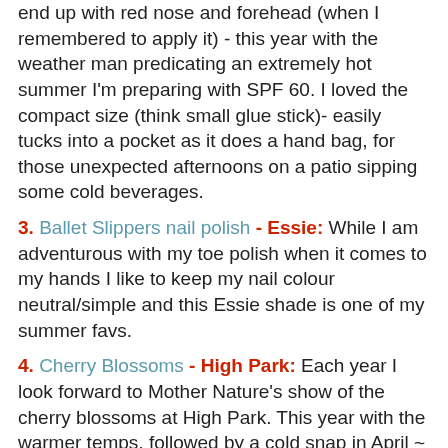end up with red nose and forehead (when I remembered to apply it) - this year with the weather man predicating an extremely hot summer I'm preparing with SPF 60. I loved the compact size (think small glue stick)- easily tucks into a pocket as it does a hand bag, for those unexpected afternoons on a patio sipping some cold beverages.
3. Ballet Slippers nail polish - Essie: While I am adventurous with my toe polish when it comes to my hands I like to keep my nail colour neutral/simple and this Essie shade is one of my summer favs.
4. Cherry Blossoms - High Park: Each year I look forward to Mother Nature's show of the cherry blossoms at High Park. This year with the warmer temps, followed by a cold snap in April ~ the show was a little sparse. But, I did manage to find these beauties by the tennis courts off the Bloor street entrance and was tickled pink (punt intended) to take in the blossoming delight.
5. Chuck Taylor All Star sneakers - Converse: These have been my go to for getting around Toronto, whether I'm